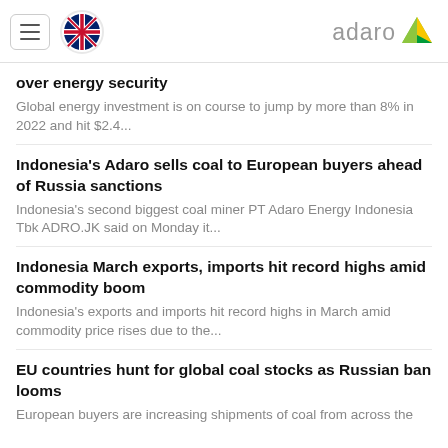adaro (logo with hamburger menu and UK flag)
over energy security
Global energy investment is on course to jump by more than 8% in 2022 and hit $2.4...
Indonesia's Adaro sells coal to European buyers ahead of Russia sanctions
Indonesia's second biggest coal miner PT Adaro Energy Indonesia Tbk ADRO.JK said on Monday it...
Indonesia March exports, imports hit record highs amid commodity boom
Indonesia's exports and imports hit record highs in March amid commodity price rises due to the...
EU countries hunt for global coal stocks as Russian ban looms
European buyers are increasing shipments of coal from across the